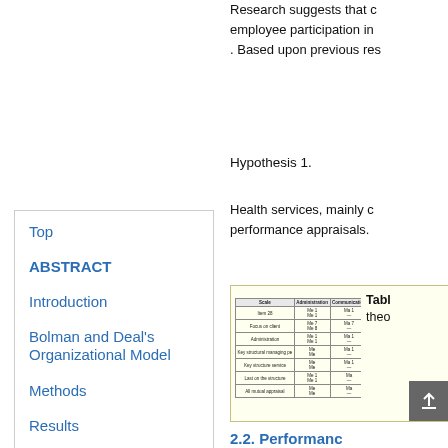Research suggests that employee participation in . Based upon previous res
Hypothesis 1.
Health services, mainly performance appraisals.
[Figure (table-as-image): Miniature table with rows and columns showing theoretical data values]
Table theo
2.2. Performance
Bolman and Deal's
Top
ABSTRACT
Introduction
Bolman and Deal's Organizational Model
Methods
Results
Discussion